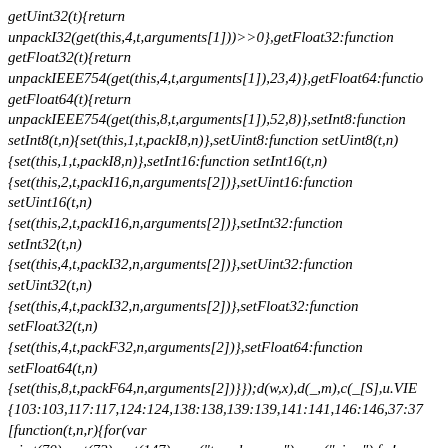getUint32(t){return unpackI32(get(this,4,t,arguments[1]))>>0},getFloat32:function getFloat32(t){return unpackIEEE754(get(this,4,t,arguments[1]),23,4)},getFloat64:function getFloat64(t){return unpackIEEE754(get(this,8,t,arguments[1]),52,8)},setInt8:function setInt8(t,n){set(this,1,t,packI8,n)},setUint8:function setUint8(t,n){set(this,1,t,packI8,n)},setInt16:function setInt16(t,n){set(this,2,t,packI16,n,arguments[2])},setUint16:function setUint16(t,n){set(this,2,t,packI16,n,arguments[2])},setInt32:function setInt32(t,n){set(this,4,t,packI32,n,arguments[2])},setUint32:function setUint32(t,n){set(this,4,t,packI32,n,arguments[2])},setFloat32:function setFloat32(t,n){set(this,4,t,packF32,n,arguments[2])},setFloat64:function setFloat64(t,n){set(this,8,t,packF64,n,arguments[2])}});d(w,x),d(_,m),c(_[S],u.VIEW,{103:103,117:117,124:124,138:138,139:139,141:141,146:146,37:37},[function(t,n,r){for(var e,i=t(70),o=t(72),u=t(147),c=u("typed_array"),a=u("view"),f=!(!i.ArrayBuffer||!i.DataView),s=f,l=0,h="Int8Array,Uint8Array,Uint(e=i[h[l++]])?( o(e.prototype,c,!0),o(e.prototype,a,!0)):s=!1;n.exports={ARV:f,CONSTR:s,TYPED:c,VIEW:a}}